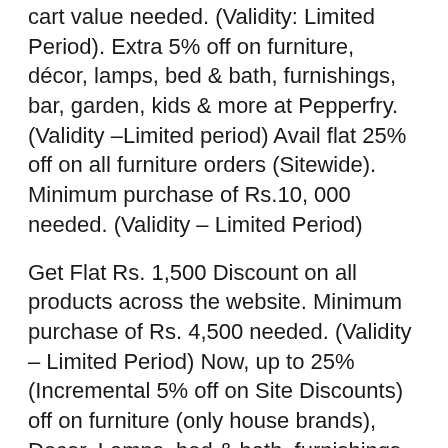cart value needed. (Validity: Limited Period). Extra 5% off on furniture, décor, lamps, bed & bath, furnishings, bar, garden, kids & more at Pepperfry. (Validity –Limited period) Avail flat 25% off on all furniture orders (Sitewide). Minimum purchase of Rs.10, 000 needed. (Validity – Limited Period)
Get Flat Rs. 1,500 Discount on all products across the website. Minimum purchase of Rs. 4,500 needed. (Validity – Limited Period) Now, up to 25% (Incremental 5% off on Site Discounts) off on furniture (only house brands), Decor, Lamps, bed & bath, furnishings, bar, garden, kids use the given coupon code. Offer open only for HDFC Bank Net Banking users only. (Validity – Limited Period).